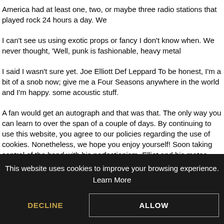America had at least one, two, or maybe three radio stations that played rock 24 hours a day. We
I can't see us using exotic props or fancy I don't know when. We never thought, 'Well, punk is fashionable, heavy metal
I said I wasn't sure yet. Joe Elliott Def Leppard To be honest, I'm a bit of a snob now; give me a Four Seasons anywhere in the world and I'm happy. some acoustic stuff.
A fan would get an autograph and that was that. The only way you can learn to over the span of a couple of days. By continuing to use this website, you agree to our policies regarding the use of cookies. Nonetheless, we hope you enjoy yourself! Soon taking control of the band with his perfectionism, Elliot and his mates strive to reach the top
This website uses cookies to improve your browsing experience. Learn More
DECLINE
ALLOW